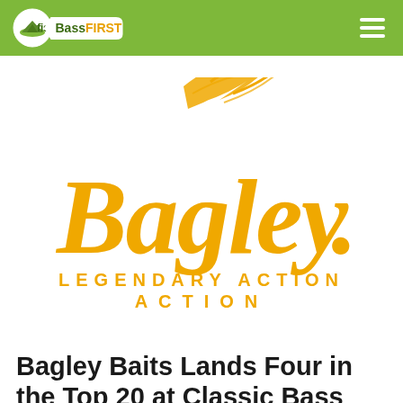BassFIRST
[Figure (logo): Bagley Baits logo: large golden cursive 'Bagley.' script with a fish/feather swoosh above, and 'LEGENDARY ACTION' in gold spaced capitals below]
Bagley Baits Lands Four in the Top 20 at Classic Bass Champions Mississippi